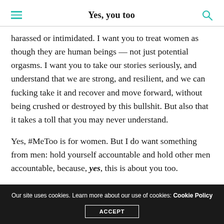Yes, you too
harassed or intimidated. I want you to treat women as though they are human beings — not just potential orgasms. I want you to take our stories seriously, and understand that we are strong, and resilient, and we can fucking take it and recover and move forward, without being crushed or destroyed by this bullshit. But also that it takes a toll that you may never understand.
Yes, #MeToo is for women. But I do want something from men: hold yourself accountable and hold other men accountable, because, yes, this is about you too.
Our site uses cookies. Learn more about our use of cookies: Cookie Policy ACCEPT